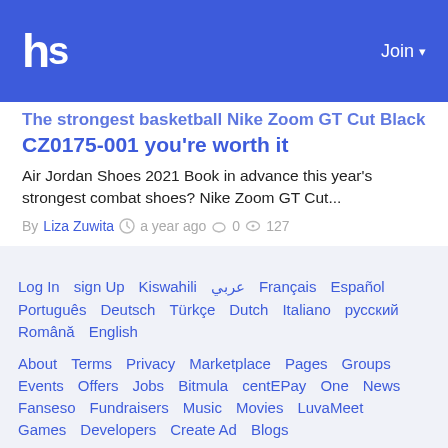hs  Join
CZ0175-001 you're worth it
Air Jordan Shoes 2021 Book in advance this year's strongest combat shoes? Nike Zoom GT Cut...
By Liza Zuwita  a year ago  0  127
Log In   sign Up   Kiswahili   عربي   Français   Español   Português   Deutsch   Türkçe   Dutch   Italiano   русский   Română   English
About   Terms   Privacy   Marketplace   Pages   Groups   Events   Offers   Jobs   Bitmula   centEPay   One   News   Fanseso   Fundraisers   Music   Movies   LuvaMeet   Games   Developers   Create Ad   Blogs
© 2014 – 2022 Huduma Social  A service by Enkola